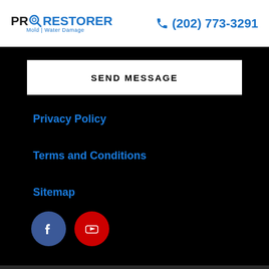[Figure (logo): ProRestorer logo with magnifying glass icon and tagline 'Mold | Water Damage']
(202) 773-3291
SEND MESSAGE
Privacy Policy
Terms and Conditions
Sitemap
[Figure (illustration): Facebook and YouTube social media icon circles]